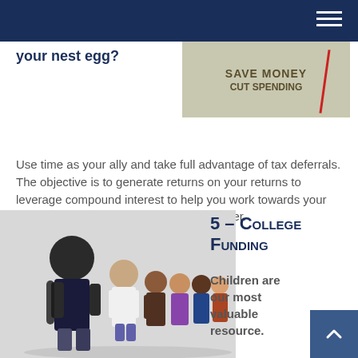your nest egg?
[Figure (photo): Photo of a notebook or sign showing 'SAVE MONEY' and 'CUT SPENDING' text with a red pencil]
Use time as your ally and take full advantage of tax deferrals. The objective is to generate returns on your returns to leverage compound interest to help you work towards your retirement goals in a more efficient manner.
[Figure (photo): Photo of school children in a line, with a boy in the foreground smiling and wearing a backpack]
5 – College Funding
Children are our most valuable resource.